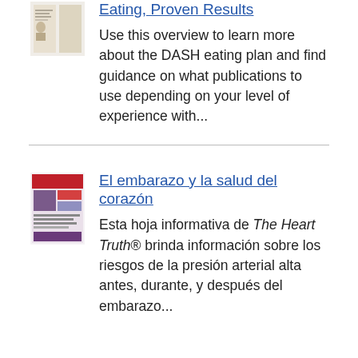[Figure (illustration): Thumbnail image of a DASH eating plan publication cover]
Eating, Proven Results
Use this overview to learn more about the DASH eating plan and find guidance on what publications to use depending on your level of experience with...
[Figure (illustration): Thumbnail image of El embarazo y la salud del corazón publication cover]
El embarazo y la salud del corazón
Esta hoja informativa de The Heart Truth® brinda información sobre los riesgos de la presión arterial alta antes, durante, y después del embarazo...